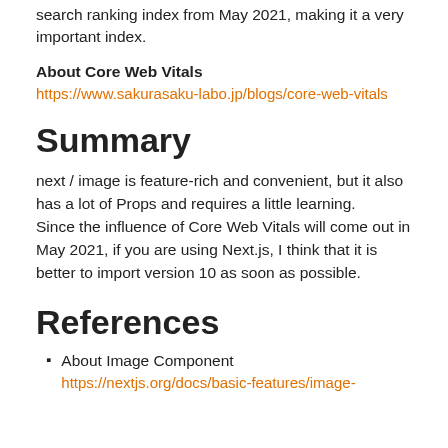search ranking index from May 2021, making it a very important index.
About Core Web Vitals
https://www.sakurasaku-labo.jp/blogs/core-web-vitals
Summary
next / image is feature-rich and convenient, but it also has a lot of Props and requires a little learning. Since the influence of Core Web Vitals will come out in May 2021, if you are using Next.js, I think that it is better to import version 10 as soon as possible.
References
About Image Component https://nextjs.org/docs/basic-features/image-